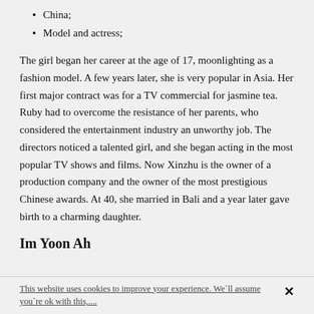China;
Model and actress;
The girl began her career at the age of 17, moonlighting as a fashion model. A few years later, she is very popular in Asia. Her first major contract was for a TV commercial for jasmine tea. Ruby had to overcome the resistance of her parents, who considered the entertainment industry an unworthy job. The directors noticed a talented girl, and she began acting in the most popular TV shows and films. Now Xinzhu is the owner of a production company and the owner of the most prestigious Chinese awards. At 40, she married in Bali and a year later gave birth to a charming daughter.
Im Yoon Ah
This website uses cookies to improve your experience. We`ll assume you`re ok with this,....